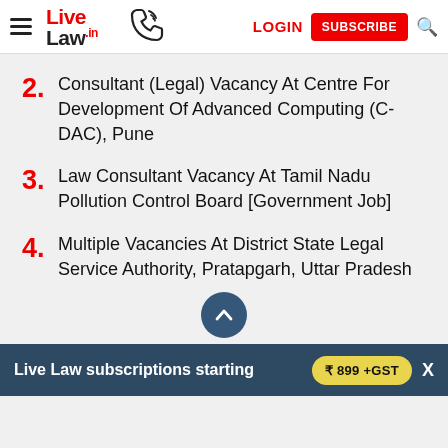Live Law | LOGIN | SUBSCRIBE
2. Consultant (Legal) Vacancy At Centre For Development Of Advanced Computing (C-DAC), Pune
3. Law Consultant Vacancy At Tamil Nadu Pollution Control Board [Government Job]
4. Multiple Vacancies At District State Legal Service Authority, Pratapgarh, Uttar Pradesh
Live Law subscriptions starting ₹ 899 +GST